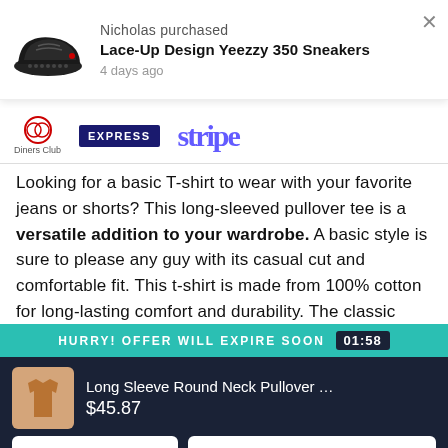Nicholas purchased
Lace-Up Design Yeezzy 350 Sneakers
4 days ago
[Figure (logo): Payment logos: Diners Club, EXPRESS, Stripe]
Looking for a basic T-shirt to wear with your favorite jeans or shorts? This long-sleeved pullover tee is a versatile addition to your wardrobe. A basic style is sure to please any guy with its casual cut and comfortable fit. This t-shirt is made from 100% cotton for long-lasting comfort and durability. The classic look
HURRY! OFFER WILL EXPIRE SOON  01:58
Long Sleeve Round Neck Pullover T-Shirt For ...
$45.87
3 XL
Y4810002 Khaki
Buy Now